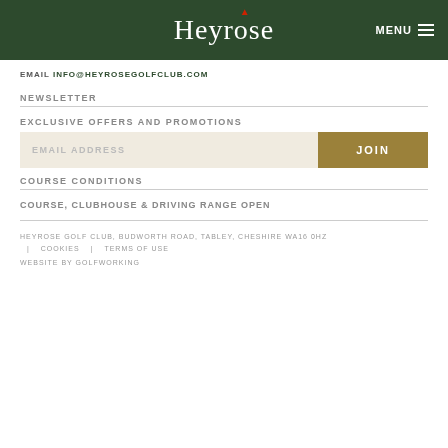Heyrose MENU
EMAIL INFO@HEYROSEGOLFCLUB.COM
NEWSLETTER
EXCLUSIVE OFFERS AND PROMOTIONS
EMAIL ADDRESS | JOIN
COURSE CONDITIONS
COURSE, CLUBHOUSE & DRIVING RANGE OPEN
HEYROSE GOLF CLUB, BUDWORTH ROAD, TABLEY, CHESHIRE WA16 0HZ  |  COOKIES  |  TERMS OF USE
WEBSITE BY GOLFWORKING